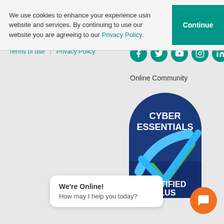We use cookies to enhance your experience using our website and services. By continuing to use our website you are agreeing to our Privacy Policy.
Continue
Terms of use   Privacy Policy
[Figure (infographic): Five circular teal social media icons: Facebook, Twitter, YouTube, Instagram, LinkedIn]
Online Community
[Figure (logo): Cyber Essentials Certified Plus badge — dark blue arch-shaped badge with white text 'CYBER ESSENTIALS' at top, a large blue and green checkmark in the center, and 'CERTIFIED PLUS' at the bottom]
We're Online!
How may I help you today?
[Figure (illustration): Orange circular chat/message icon button]